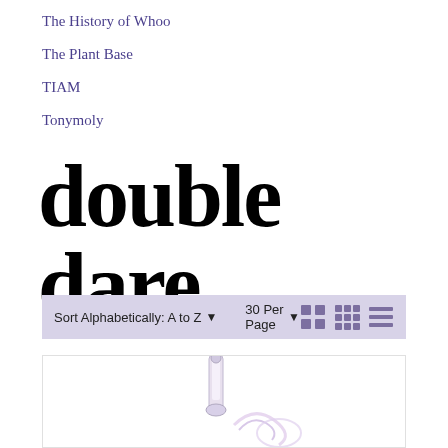The History of Whoo
The Plant Base
TIAM
Tonymoly
double dare
Sort Alphabetically: A to Z ▾   30 Per Page ▾
[Figure (photo): Product image of a skincare device with a white swirl/wave design element, partially visible at bottom of page]